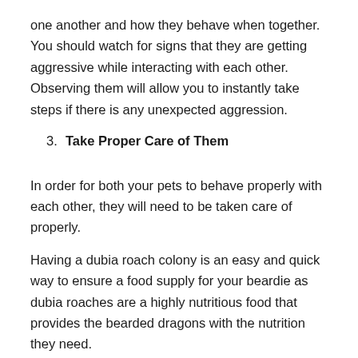one another and how they behave when together. You should watch for signs that they are getting aggressive while interacting with each other. Observing them will allow you to instantly take steps if there is any unexpected aggression.
3. Take Proper Care of Them
In order for both your pets to behave properly with each other, they will need to be taken care of properly.
Having a dubia roach colony is an easy and quick way to ensure a food supply for your beardie as dubia roaches are a highly nutritious food that provides the bearded dragons with the nutrition they need.
4. Supervise Them When They Are Together